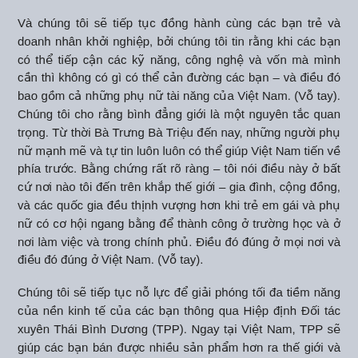Và chúng tôi sẽ tiếp tục đồng hành cùng các bạn trẻ và doanh nhân khởi nghiệp, bởi chúng tôi tin rằng khi các bạn có thể tiếp cận các kỹ năng, công nghệ và vốn mà mình cần thì không có gì có thể cản đường các bạn – và điều đó bao gồm cả những phụ nữ tài năng của Việt Nam. (Vỗ tay). Chúng tôi cho rằng bình đẳng giới là một nguyên tắc quan trọng. Từ thời Bà Trưng Bà Triệu đến nay, những người phụ nữ mạnh mẽ và tự tin luôn luôn có thể giúp Việt Nam tiến về phía trước. Bằng chứng rất rõ ràng – tôi nói điều này ở bất cứ nơi nào tôi đến trên khắp thế giới – gia đình, cộng đồng, và các quốc gia đều thịnh vượng hơn khi trẻ em gái và phụ nữ có cơ hội ngang bằng để thành công ở trường học và ở nơi làm việc và trong chính phủ. Điều đó đúng ở mọi nơi và điều đó đúng ở Việt Nam. (Vỗ tay).
Chúng tôi sẽ tiếp tục nỗ lực để giải phóng tối đa tiềm năng của nền kinh tế của các bạn thông qua Hiệp định Đối tác xuyên Thái Bình Dương (TPP). Ngay tại Việt Nam, TPP sẽ giúp các bạn bán được nhiều sản phẩm hơn ra thế giới và hiệp định này sẽ thu hút đầu tư mới. TPP sẽ đòi hỏi cải cách để bảo vệ công nhân và pháp quyền và quyền sở hữu trí tuệ. Và khi Việt Nam thực hiện tốt, Việt N…